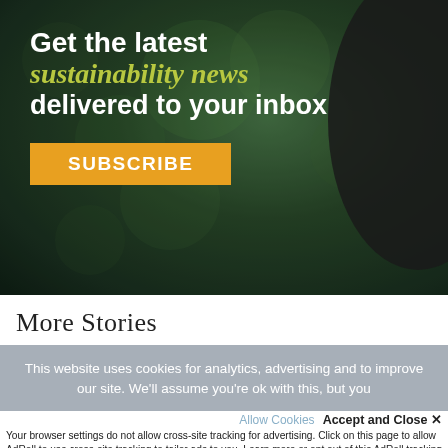[Figure (illustration): Newsletter subscription banner with dark green bokeh background and circular dark shape on right. Text overlay reads: Get the latest sustainability news delivered to your inbox, with an orange SUBSCRIBE button.]
More Stories
This website uses cookies for analytics, advertising and to improve our site. We'll assume you're ok with this, but you
Allow Cookies   Accept and Close ✕
Your browser settings do not allow cross-site tracking for advertising. Click on this page to allow AdRoll to use cross-site tracking to tailor ads to you. Learn more or opt out of this AdRoll tracking by clicking here. This message only appears once.